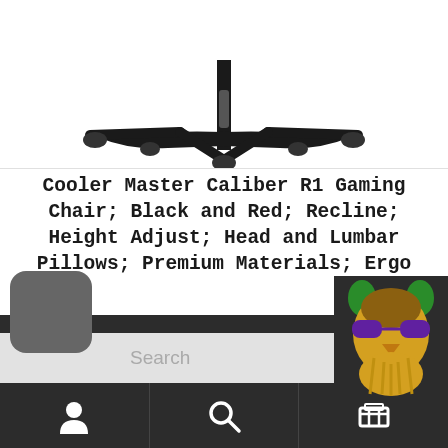[Figure (photo): Product image of Cooler Master Caliber R1 Gaming Chair showing the base and lower portion of the chair on white background]
Cooler Master Caliber R1 Gaming Chair; Black and Red; Recline; Height Adjust; Head and Lumbar Pillows; Premium Materials; Ergo
SALE!
Add to cart
[Figure (illustration): Dark mode / crescent moon icon button (rounded square, grey background)]
Search
[Figure (logo): Owl mascot logo with green ears, sunglasses, and yellow beard on dark background]
Navigation bar with user icon, search icon, and cart icon